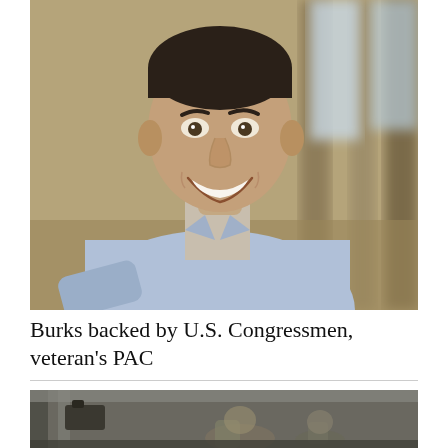[Figure (photo): Portrait photo of a smiling man in a light blue button-down shirt, seated indoors with a blurred background of pillars and windows]
Burks backed by U.S. Congressmen, veteran's PAC
[Figure (photo): Partial photo showing people in a formal indoor setting, appears to be a government or legislative building]